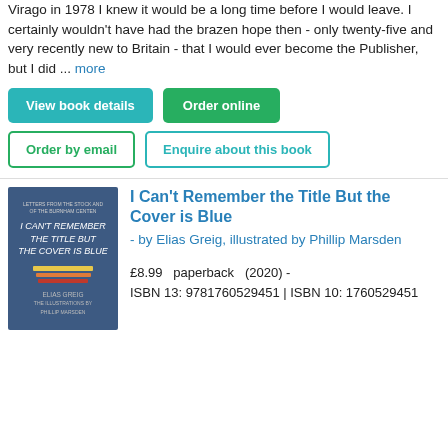Virago in 1978 I knew it would be a long time before I would leave. I certainly wouldn't have had the brazen hope then - only twenty-five and very recently new to Britain - that I would ever become the Publisher, but I did ... more
View book details
Order online
Order by email
Enquire about this book
[Figure (illustration): Book cover of 'I Can't Remember the Title But the Cover is Blue' - dark blue background with handwritten-style title text and colorful horizontal bars, author name Elias Greig at bottom]
I Can't Remember the Title But the Cover is Blue
- by Elias Greig, illustrated by Phillip Marsden
£8.99   paperback   (2020) - ISBN 13: 9781760529451 | ISBN 10: 1760529451